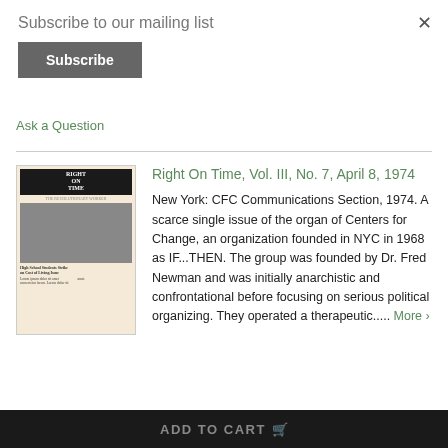Subscribe to our mailing list
Subscribe
× (close button)
Ask a Question
Right On Time, Vol. III, No. 7, April 8, 1974
[Figure (photo): Cover of 'Right On Time' newspaper showing headline text and a photograph of people on a street. Subtitle reads 'The Revolutionary Worker'. Bottom caption reads 'High School Students Strike on Cost of Living Issue'.]
New York: CFC Communications Section, 1974. A scarce single issue of the organ of Centers for Change, an organization founded in NYC in 1968 as IF...THEN. The group was founded by Dr. Fred Newman and was initially anarchistic and confrontational before focusing on serious political organizing. They operated a therapeutic..... More ›
ADD TO CART